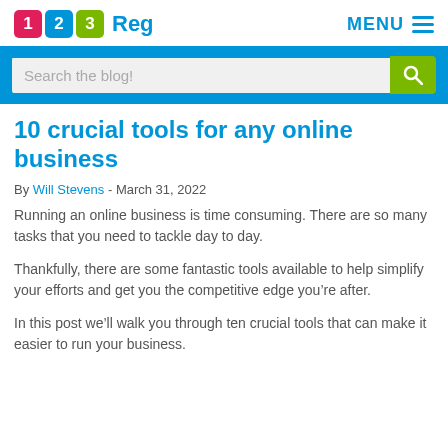123 Reg  MENU
Search the blog!
10 crucial tools for any online business
By Will Stevens - March 31, 2022
Running an online business is time consuming. There are so many tasks that you need to tackle day to day.
Thankfully, there are some fantastic tools available to help simplify your efforts and get you the competitive edge you’re after.
In this post we’ll walk you through ten crucial tools that can make it easier to run your business.